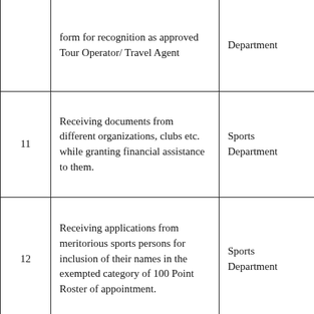|  | Description | Department |
| --- | --- | --- |
|  | form for recognition as approved Tour Operator/ Travel Agent | Department |
| 11 | Receiving documents from different organizations, clubs etc. while granting financial assistance to them. | Sports Department |
| 12 | Receiving applications from meritorious sports persons for inclusion of their names in the exempted category of 100 Point Roster of appointment. | Sports Department |
| 13 | Affidavit filed before an Executive Magistrate/ Judicial Magistrate for becoming member of Housing Co-operative societies | Co-operation Department |